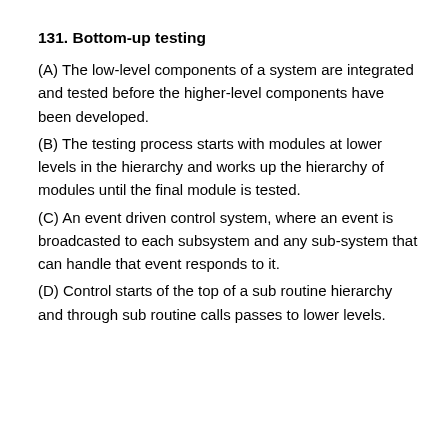131. Bottom-up testing
(A) The low-level components of a system are integrated and tested before the higher-level components have been developed.
(B) The testing process starts with modules at lower levels in the hierarchy and works up the hierarchy of modules until the final module is tested.
(C) An event driven control system, where an event is broadcasted to each subsystem and any sub-system that can handle that event responds to it.
(D) Control starts of the top of a sub routine hierarchy and through sub routine calls passes to lower levels.